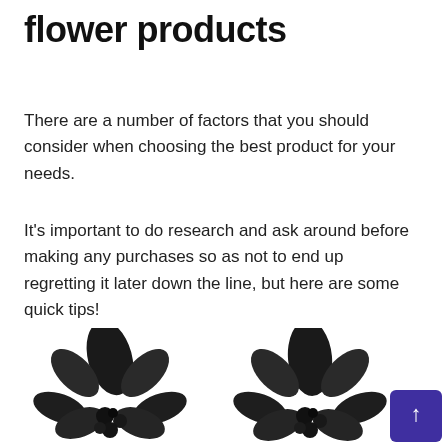flower products
There are a number of factors that you should consider when choosing the best product for your needs.
It's important to do research and ask around before making any purchases so as not to end up regretting it later down the line, but here are some quick tips!
[Figure (photo): Two black gemstone flower-shaped earrings or brooches with faceted black crystal petals arranged in a lotus/flower pattern, photographed on white background.]